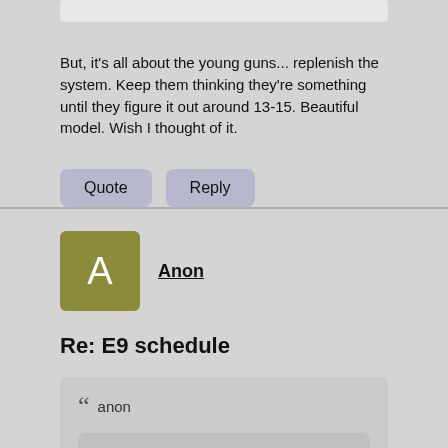But, it's all about the young guns... replenish the system. Keep them thinking they're something until they figure it out around 13-15. Beautiful model. Wish I thought of it.
Quote  Reply
Anon
Re: E9 schedule
anon
Anon
anon